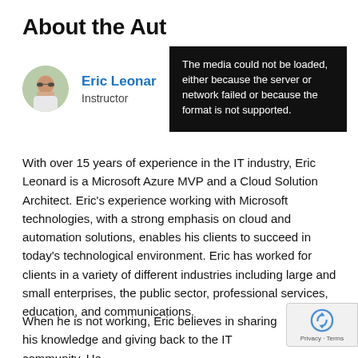About the Aut
[Figure (photo): Circular avatar photo of Eric Leonard, a man with glasses wearing a white shirt, outdoors with green background]
Eric Leonard
Instructor
[Figure (screenshot): Black error overlay box with white text: 'The media could not be loaded, either because the server or network failed or because the format is not supported.']
With over 15 years of experience in the IT industry, Eric Leonard is a Microsoft Azure MVP and a Cloud Solution Architect. Eric’s experience working with Microsoft technologies, with a strong emphasis on cloud and automation solutions, enables his clients to succeed in today’s technological environment. Eric has worked for clients in a variety of different industries including large and small enterprises, the public sector, professional services, education, and communications.
When he is not working, Eric believes in sharing his knowledge and giving back to the IT community. He